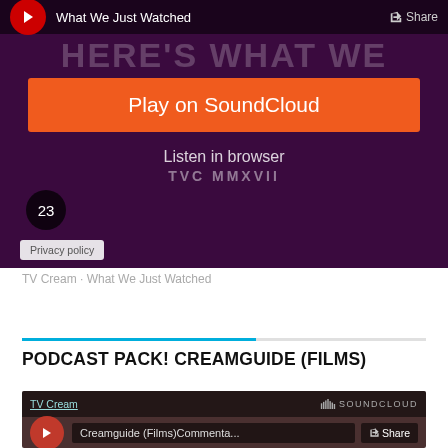[Figure (screenshot): SoundCloud embedded player for 'What We Just Watched' podcast showing a dark purple artwork with 'HERE'S WHAT WE WATCHED' text, an orange 'Play on SoundCloud' button, 'Listen in browser' text, a badge with '23', privacy policy badge, and TVC MMXVII branding.]
TV Cream · What We Just Watched
PODCAST PACK! CREAMGUIDE (FILMS)
[Figure (screenshot): SoundCloud embedded player bottom bar for 'Creamguide (Films)Commenta...' by TV Cream, showing a red play button, track title, TV Cream link, SoundCloud logo, and Share button.]